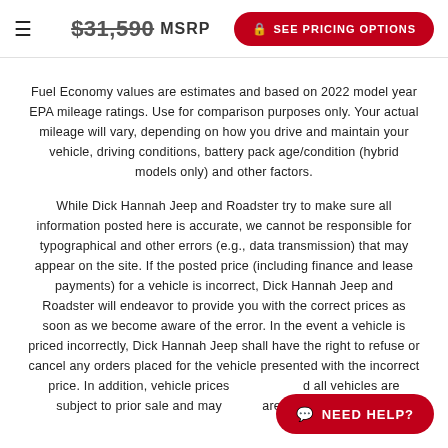$31,590 MSRP  SEE PRICING OPTIONS
Fuel Economy values are estimates and based on 2022 model year EPA mileage ratings. Use for comparison purposes only. Your actual mileage will vary, depending on how you drive and maintain your vehicle, driving conditions, battery pack age/condition (hybrid models only) and other factors.
While Dick Hannah Jeep and Roadster try to make sure all information posted here is accurate, we cannot be responsible for typographical and other errors (e.g., data transmission) that may appear on the site. If the posted price (including finance and lease payments) for a vehicle is incorrect, Dick Hannah Jeep and Roadster will endeavor to provide you with the correct prices as soon as we become aware of the error. In the event a vehicle is priced incorrectly, Dick Hannah Jeep shall have the right to refuse or cancel any orders placed for the vehicle presented with the incorrect price. In addition, vehicle prices and all vehicles are subject to prior sale and may not be available when you are ready to purchase.